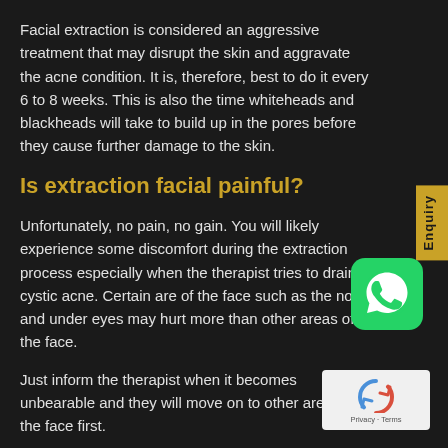Facial extraction is considered an aggressive treatment that may disrupt the skin and aggravate the acne condition. It is, therefore, best to do it every 6 to 8 weeks. This is also the time whiteheads and blackheads will take to build up in the pores before they cause further damage to the skin.
Is extraction facial painful?
Unfortunately, no pain, no gain. You will likely experience some discomfort during the extraction process especially when the therapist tries to drain a cystic acne. Certain are of the face such as the nose and under eyes may hurt more than other areas of the face.
Just inform the therapist when it becomes unbearable and they will move on to other areas of the face first.
[Figure (logo): WhatsApp green icon button]
[Figure (logo): Google reCAPTCHA badge with Privacy and Terms links]
Benefits